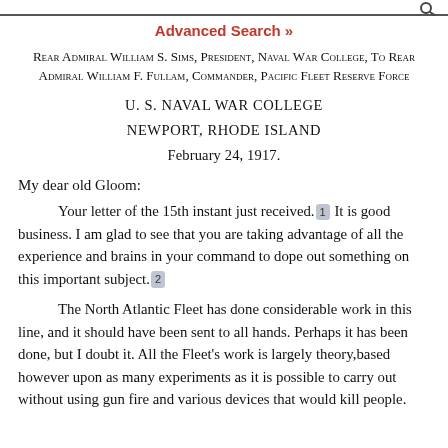Advanced Search »
Rear Admiral William S. Sims, President, Naval War College, To Rear Admiral William F. Fullam, Commander, Pacific Fleet Reserve Force
U. S. NAVAL WAR COLLEGE
NEWPORT, RHODE ISLAND
February 24, 1917.
My dear old Gloom:
Your letter of the 15th instant just received. [1] It is good business. I am glad to see that you are taking advantage of all the experience and brains in your command to dope out something on this important subject. [2]
The North Atlantic Fleet has done considerable work in this line, and it should have been sent to all hands. Perhaps it has been done, but I doubt it. All the Fleet's work is largely theory,based however upon as many experiments as it is possible to carry out without using gun fire and various devices that would kill people.